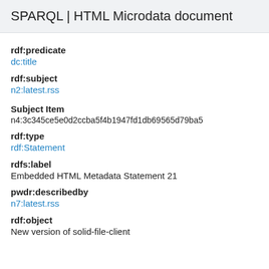SPARQL | HTML Microdata document
rdf:predicate
dc:title
rdf:subject
n2:latest.rss
Subject Item
n4:3c345ce5e0d2ccba5f4b1947fd1db69565d79ba5
rdf:type
rdf:Statement
rdfs:label
Embedded HTML Metadata Statement 21
pwdr:describedby
n7:latest.rss
rdf:object
New version of solid-file-client